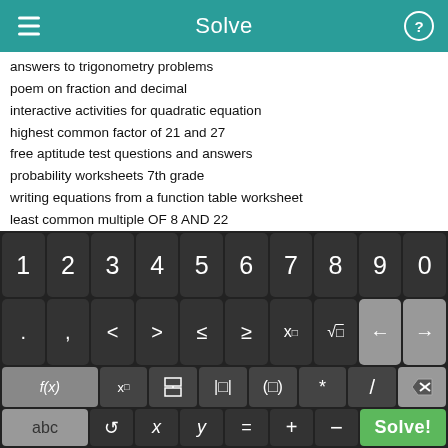Solve
answers to trigonometry problems
poem on fraction and decimal
interactive activities for quadratic equation
highest common factor of 21 and 27
free aptitude test questions and answers
probability worksheets 7th grade
writing equations from a function table worksheet
least common multiple OF 8 AND 22
multiplying and dividing radicals calculator
how can i download inverse laplace transform to my ti 89
algebra fraction calculator
[Figure (screenshot): On-screen math keyboard with digit row (1-0), symbol row (. , < > ≤ ≥ x^□ √□ ← →), function row (f(x) x□ fraction absolute-value parentheses * / delete), and bottom row (abc ↺ x y = + − Solve!)]